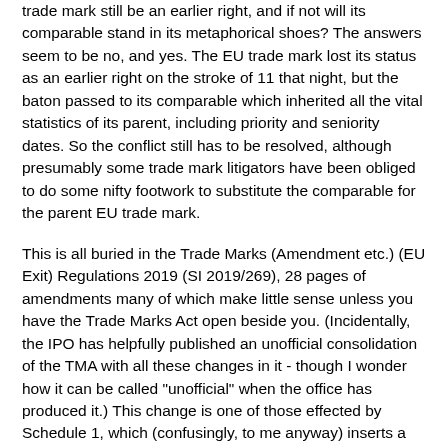trade mark still be an earlier right, and if not will its comparable stand in its metaphorical shoes? The answers seem to be no, and yes. The EU trade mark lost its status as an earlier right on the stroke of 11 that night, but the baton passed to its comparable which inherited all the vital statistics of its parent, including priority and seniority dates. So the conflict still has to be resolved, although presumably some trade mark litigators have been obliged to do some nifty footwork to substitute the comparable for the parent EU trade mark.
This is all buried in the Trade Marks (Amendment etc.) (EU Exit) Regulations 2019 (SI 2019/269), 28 pages of amendments many of which make little sense unless you have the Trade Marks Act open beside you. (Incidentally, the IPO has helpfully published an unofficial consolidation of the TMA with all these changes in it - though I wonder how it can be called "unofficial" when the office has produced it.) This change is one of those effected by Schedule 1, which (confusingly, to me anyway) inserts a new schedule 2A into the 1994 Act with all this good stuff in it.
As for the question of use or non-use, that is dealt with by